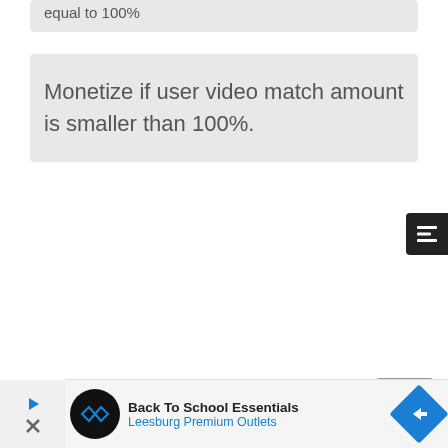equal to 100%
Monetize if user video match amount is smaller than 100%.
[Figure (other): Dark menu/list button icon in top-right corner]
[Figure (other): Gray scroll-to-top button]
[Figure (other): Advertisement banner: Back To School Essentials – Leesburg Premium Outlets, with logo and arrow icon]